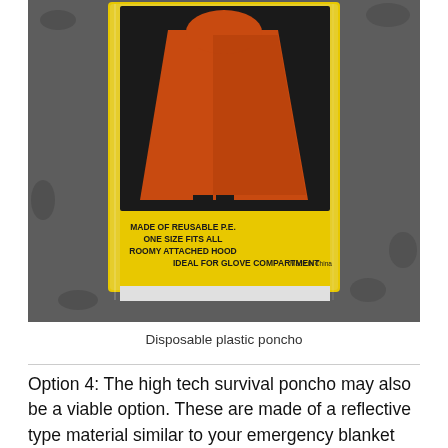[Figure (photo): A disposable plastic poncho in a yellow packaging inside a clear plastic bag. The package label reads: MADE OF REUSABLE P.E. / ONE SIZE FITS ALL / ROOMY ATTACHED HOOD / IDEAL FOR GLOVE COMPARTMENT / Made in China. The package shows a person wearing an orange poncho.]
Disposable plastic poncho
Option 4: The high tech survival poncho may also be a viable option.  These are made of a reflective type material similar to your emergency blanket but are typically more